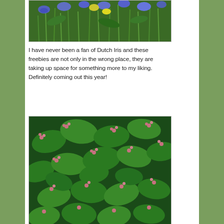[Figure (photo): Dutch Iris flowers - blue and yellow iris blooms with green grass/foliage in a garden setting]
I have never been a fan of Dutch Iris and these freebies are not only in the wrong place, they are taking up space for something more to my liking. Definitely coming out this year!
[Figure (photo): Dense green leafy plant with clusters of small pink/red berries or flowers throughout]